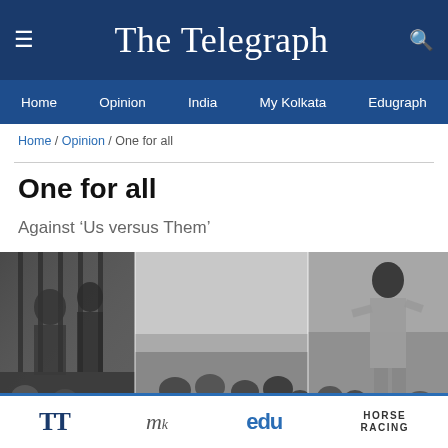The Telegraph
Home / Opinion / India / My Kolkata / Edugraph
Home / Opinion / One for all
One for all
Against 'Us versus Them'
[Figure (photo): Black and white historical photograph showing groups of people, split across three panels]
TT / my / edu / HORSE RACING